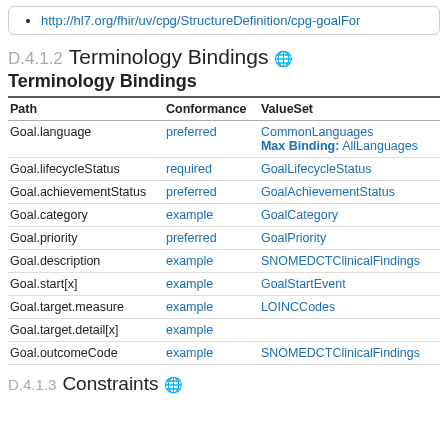http://hl7.org/fhir/uv/cpg/StructureDefinition/cpg-goalFor
D.4.1.2 Terminology Bindings
Terminology Bindings
| Path | Conformance | ValueSet |
| --- | --- | --- |
| Goal.language | preferred | CommonLanguages
Max Binding: AllLanguages |
| Goal.lifecycleStatus | required | GoalLifecycleStatus |
| Goal.achievementStatus | preferred | GoalAchievementStatus |
| Goal.category | example | GoalCategory |
| Goal.priority | preferred | GoalPriority |
| Goal.description | example | SNOMEDCTClinicalFindings |
| Goal.start[x] | example | GoalStartEvent |
| Goal.target.measure | example | LOINCCodes |
| Goal.target.detail[x] | example |  |
| Goal.outcomeCode | example | SNOMEDCTClinicalFindings |
D.4.1.3 Constraints